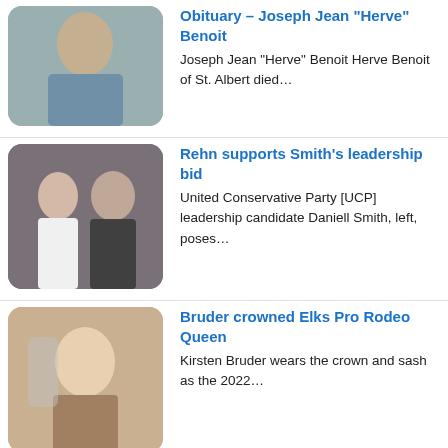Obituary – Joseph Jean "Herve" Benoit
Joseph Jean "Herve" Benoit Herve Benoit of St. Albert died…
Rehn supports Smith's leadership bid
United Conservative Party [UCP] leadership candidate Daniell Smith, left, poses…
Bruder crowned Elks Pro Rodeo Queen
Kirsten Bruder wears the crown and sash as the 2022…
Smoky River Chamber of Commerce working on several…
Emily PlihalSouth Peace News Smoky River Chamber of Commerce is…
Dolphins qualify 34 for swimming provincials
High Prairie Dolphin junior swimmers hold their me at…
Northern Sunrise installs electric charging stations